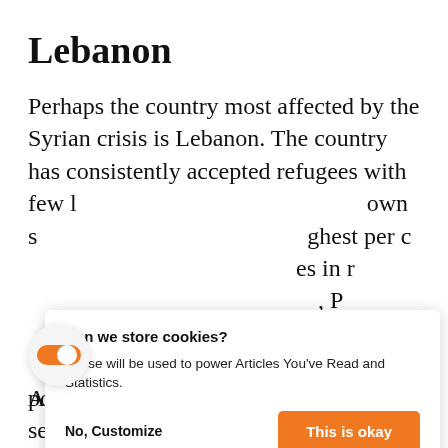Lebanon
Perhaps the country most affected by the Syrian crisis is Lebanon. The country has consistently accepted refugees with few [barriers of its] own s[trategy, with the hi]ghest per c[apita number of refug]ees in r[egion;] P[eople from Syria comp]rise over 4[00,000 refugees, making up the ov]erall population.
[Figure (other): Cookie consent dialog box with title 'Can we store cookies?', body text 'These will be used to power Articles You've Read and Statistics.', and two buttons: 'No, Customize' and 'This is okay'.]
[Figure (other): Toggle switch UI element in a circular button, toggle is in orange/on state.]
Although the influx of refugees has severely impacted the Lebanese economy